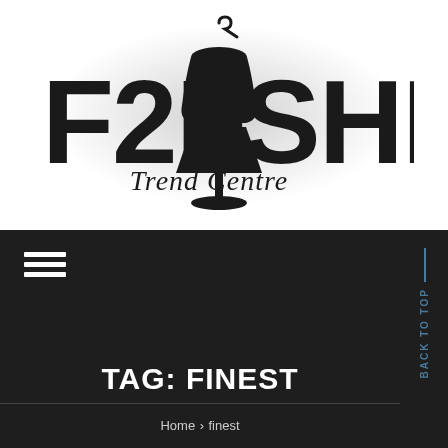[Figure (logo): F2Fashion Trend Centre logo with a mannequin silhouette replacing the letter A, large bold text F2FASHION and script text Trend Centre below]
TAG: FINEST
Home › finest